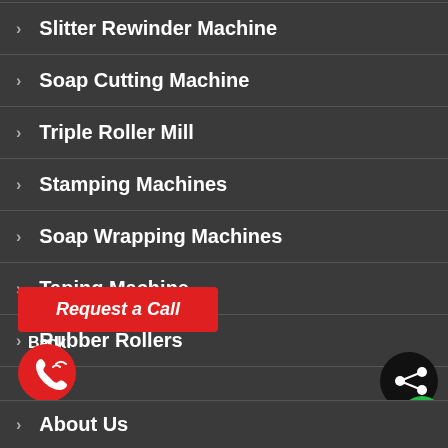Slitter Rewinder Machine
Soap Cutting Machine
Triple Roller Mill
Stamping Machines
Soap Wrapping Machines
Taping Machine
Rubber Rollers
Request a Call Back!
[Figure (illustration): Red phone call icon button (circular red background with phone/signal icon)]
[Figure (illustration): Black share icon button (circular black background with share icon)]
[Figure (illustration): Green chat icon button (circular green background with chat icon)]
About Us